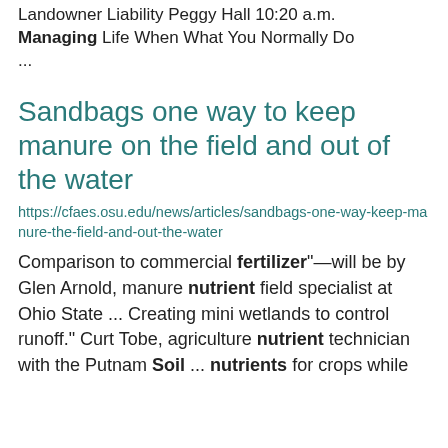Landowner Liability Peggy Hall 10:20 a.m. Managing Life When What You Normally Do ...
Sandbags one way to keep manure on the field and out of the water
https://cfaes.osu.edu/news/articles/sandbags-one-way-keep-manure-the-field-and-out-the-water
Comparison to commercial fertilizer"—will be by Glen Arnold, manure nutrient field specialist at Ohio State ... Creating mini wetlands to control runoff." Curt Tobe, agriculture nutrient technician with the Putnam Soil ... nutrients for crops while